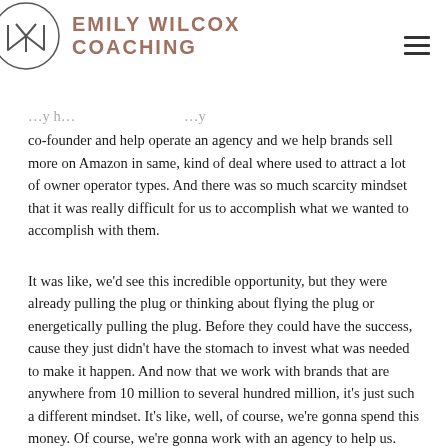Emily Wilcox Coaching
co-founder and help operate an agency and we help brands sell more on Amazon in same, kind of deal where used to attract a lot of owner operator types. And there was so much scarcity mindset that it was really difficult for us to accomplish what we wanted to accomplish with them.
It was like, we'd see this incredible opportunity, but they were already pulling the plug or thinking about flying the plug or energetically pulling the plug. Before they could have the success, cause they just didn't have the stomach to invest what was needed to make it happen. And now that we work with brands that are anywhere from 10 million to several hundred million, it's just such a different mindset. It's like, well, of course, we're gonna spend this money. Of course, we're gonna work with an agency to help us. And we've got somebody on our team that will work with you directly.